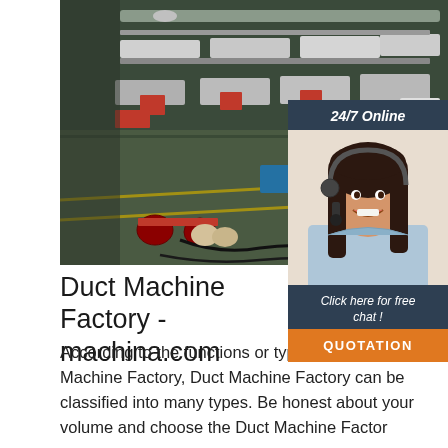[Figure (photo): Industrial factory floor showing rows of duct manufacturing machines with red and green equipment, conveyor systems, and metal ductwork components in a large warehouse setting.]
[Figure (photo): Customer service representative - a smiling woman with dark hair wearing a headset and light blue shirt, shown against a light background. Overlaid on a dark navy panel with '24/7 Online' header and 'Click here for free chat!' text and orange QUOTATION button.]
Duct Machine Factory - made-in-china.com
According to the functions or types of Duct Machine Factory, Duct Machine Factory can be classified into many types. Be honest about your volume and choose the Duct Machine Factor